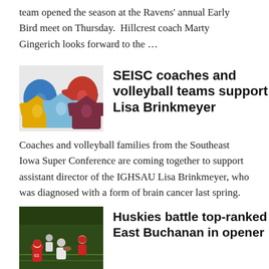team opened the season at the Ravens' annual Early Bird meet on Thursday.  Hillcrest coach Marty Gingerich looks forward to the …
[Figure (photo): Several t-shirts in blue, red, yellow, light blue, and maroon colors with a feather/wing logo on them, displayed together.]
SEISC coaches and volleyball teams support Lisa Brinkmeyer
Coaches and volleyball families from the Southeast Iowa Super Conference are coming together to support assistant director of the IGHSAU Lisa Brinkmeyer, who was diagnosed with a form of brain cancer last spring.
[Figure (photo): Football action photo showing Highland Huskies players in red uniforms competing against another team on a grass field at night.]
Huskies battle top-ranked East Buchanan in opener
The Highland Huskies took to the field Friday against East Buchanan and suffered a 56-0 loss. The youthful Huskies had their hands full with the No. 1 team in the Des Moines Register's Class A …